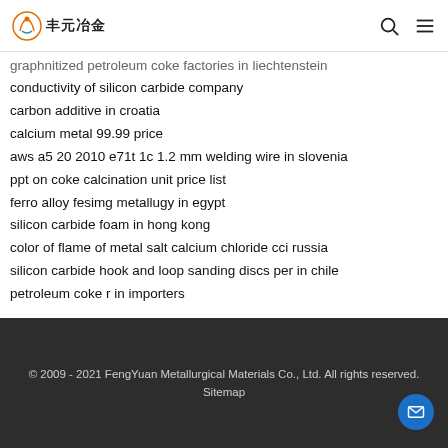丰元冶金
graphnitized petroleum coke factories in liechtenstein
conductivity of silicon carbide company
carbon additive in croatia
calcium metal 99.99 price
aws a5 20 2010 e71t 1c 1.2 mm welding wire in slovenia
ppt on coke calcination unit price list
ferro alloy fesimg metallugy in egypt
silicon carbide foam in hong kong
color of flame of metal salt calcium chloride cci russia
silicon carbide hook and loop sanding discs per in chile
petroleum coke r in importers
© 2009 - 2021 FengYuan Metallurgical Materials Co., Ltd. All rights reserved. Sitemap